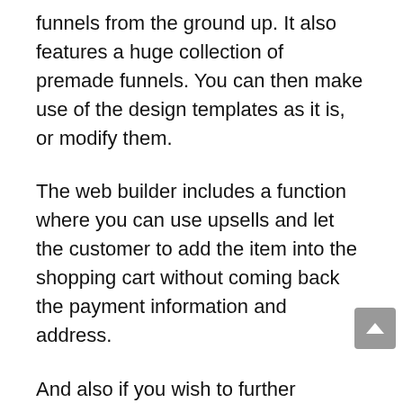funnels from the ground up. It also features a huge collection of premade funnels. You can then make use of the design templates as it is, or modify them.
The web builder includes a function where you can use upsells and let the customer to add the item into the shopping cart without coming back the payment information and address.
And also if you wish to further improve your funnels, the builder has an A/B split test attribute that permits individuals to make 2 versions of the exact same web page and see which one does better.